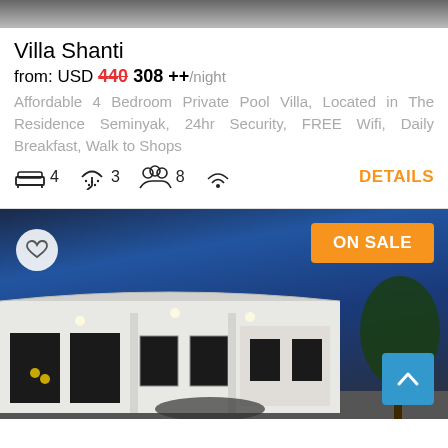[Figure (photo): Top gray/dark photo strip of villa exterior]
Villa Shanti
from: USD 440 308 ++/night
Affordable 4 Bedroom Private Pool Villa, Located in The Residence Seminyak, 24hr Security, FREE Wifi, Daily Breakfast, Walk to Shops
4 bedrooms, 3 bathrooms, 8 guests, wifi icon — DETAILS
[Figure (photo): Villa exterior at night with illuminated facade, blue sky, trees and ON SALE badge]